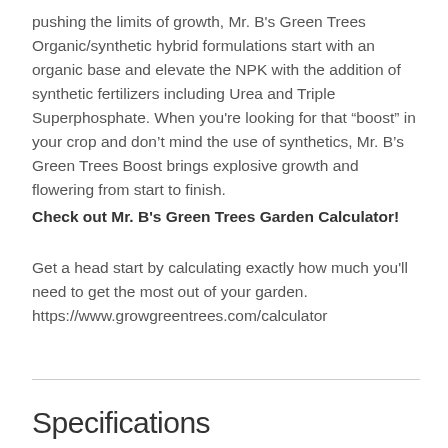pushing the limits of growth, Mr. B's Green Trees Organic/synthetic hybrid formulations start with an organic base and elevate the NPK with the addition of synthetic fertilizers including Urea and Triple Superphosphate. When you're looking for that “boost” in your crop and don’t mind the use of synthetics, Mr. B’s Green Trees Boost brings explosive growth and flowering from start to finish.
Check out Mr. B's Green Trees Garden Calculator!
Get a head start by calculating exactly how much you'll need to get the most out of your garden. https://www.growgreentrees.com/calculator
Specifications